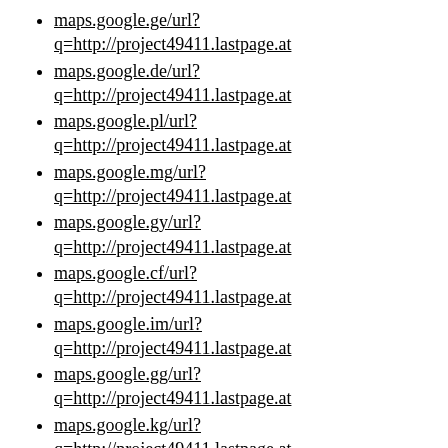maps.google.ge/url?q=http://project49411.lastpage.at
maps.google.de/url?q=http://project49411.lastpage.at
maps.google.pl/url?q=http://project49411.lastpage.at
maps.google.mg/url?q=http://project49411.lastpage.at
maps.google.gy/url?q=http://project49411.lastpage.at
maps.google.cf/url?q=http://project49411.lastpage.at
maps.google.im/url?q=http://project49411.lastpage.at
maps.google.gg/url?q=http://project49411.lastpage.at
maps.google.kg/url?q=http://project49411.lastpage.at
maps.google.la/url?